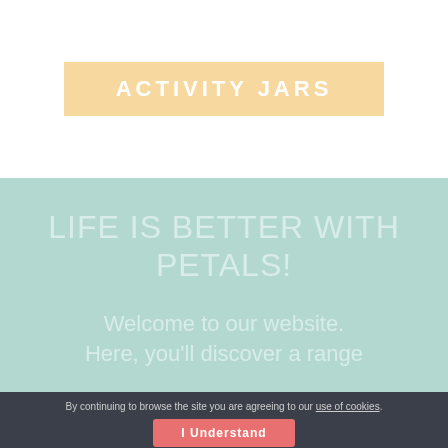ACTIVITY JARS
LIFE IS BETTER WITH PETALS!
Welcome to our website.
Here, you'll discover a range
By continuing to browse the site you are agreeing to our use of cookies.
I Understand